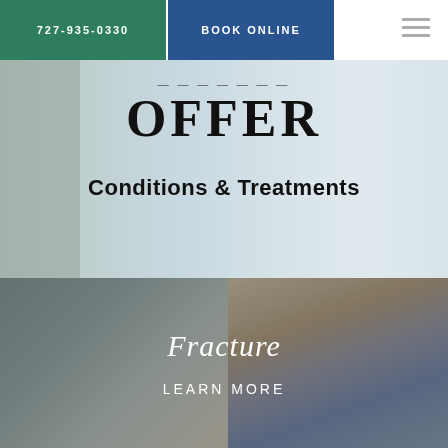727-935-0330  BOOK ONLINE
OFFER
Conditions & Treatments
[Figure (photo): Person bending over in athletic wear against mountain background, medical practice hero image]
[Figure (photo): Leg with blue orthopedic cast/fracture boot, fracture treatment image]
Fracture
LEARN MORE